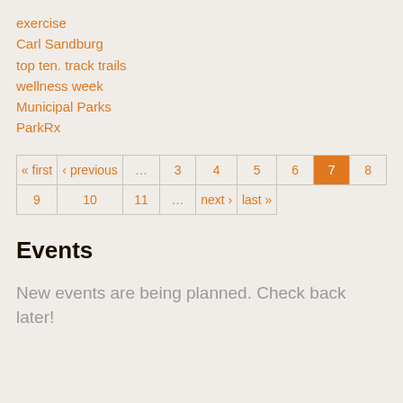exercise
Carl Sandburg
top ten. track trails
wellness week
Municipal Parks
ParkRx
Events
New events are being planned. Check back later!